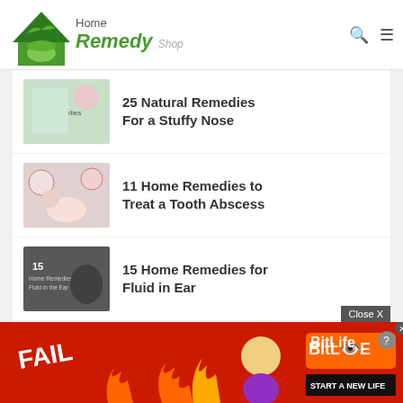Home Remedy Shop
25 Natural Remedies For a Stuffy Nose
11 Home Remedies to Treat a Tooth Abscess
15 Home Remedies for Fluid in Ear
How to Naturally Get Rid of Gallbladder Pain
Close X
[Figure (other): BitLife advertisement banner - FAIL cartoon with flames, START A NEW LIFE text]